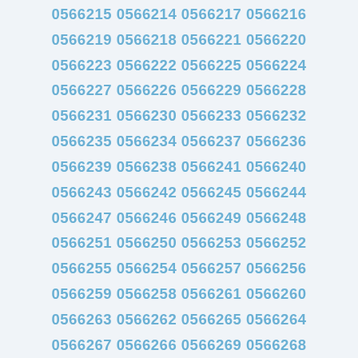0566215 0566214 0566217 0566216
0566219 0566218 0566221 0566220
0566223 0566222 0566225 0566224
0566227 0566226 0566229 0566228
0566231 0566230 0566233 0566232
0566235 0566234 0566237 0566236
0566239 0566238 0566241 0566240
0566243 0566242 0566245 0566244
0566247 0566246 0566249 0566248
0566251 0566250 0566253 0566252
0566255 0566254 0566257 0566256
0566259 0566258 0566261 0566260
0566263 0566262 0566265 0566264
0566267 0566266 0566269 0566268
0566271 0566270 0566273 0566272
0566275 0566274 0566277 0566276
0566279 0566278 0566281 0566280
0566283 0566282 0566285 0566284
0566287 0566286 0566289 0566288
0566291 0566290 0566293 0566292
0566295 0566294 0566297 0566296
0566299 0566298 0566301 0566300
0566303 0566302 0566305 0566304
0566307 0566306 0566309 0566308
0566311 0566310 0566313 0566312
0566315 0566314 0566317 0566316
0566319 0566318 0566321 0566320
0566323 0566322 0566325 0566324
0566327 0566326 0566329 0566328